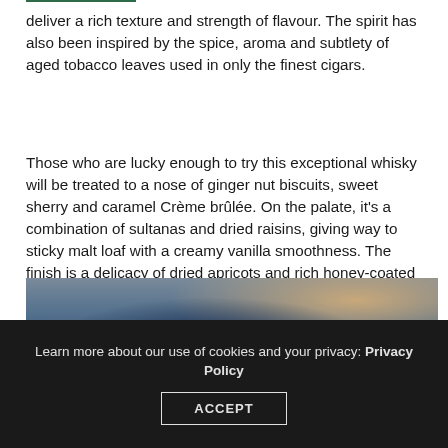deliver a rich texture and strength of flavour. The spirit has also been inspired by the spice, aroma and subtlety of aged tobacco leaves used in only the finest cigars.
Those who are lucky enough to try this exceptional whisky will be treated to a nose of ginger nut biscuits, sweet sherry and caramel Crème brûlée. On the palate, it's a combination of sultanas and dried raisins, giving way to sticky malt loaf with a creamy vanilla smoothness. The finish is a delicacy of dried apricots and rich honey-coated pecan nuts.
[Figure (photo): Photo of a man in a navy suit holding a whisky bottle, with a woman with long blonde hair in the foreground and a wooden box visible on the left.]
Learn more about our use of cookies and your privacy: Privacy Policy
ACCEPT